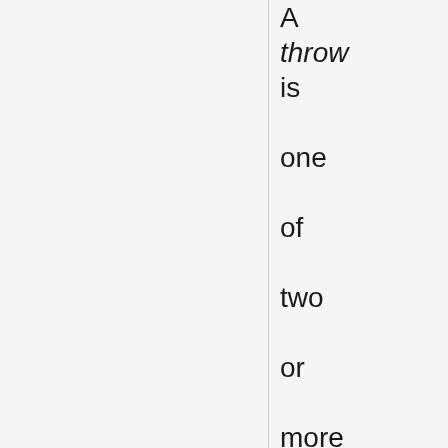A throw is one of two or more positions that the switch can adopt. These terms